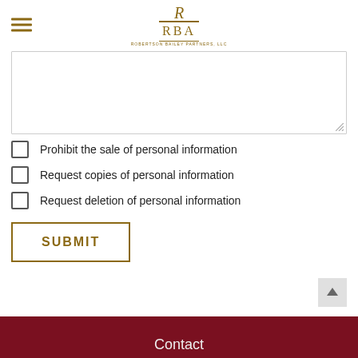RBA
Prohibit the sale of personal information
Request copies of personal information
Request deletion of personal information
SUBMIT
Contact